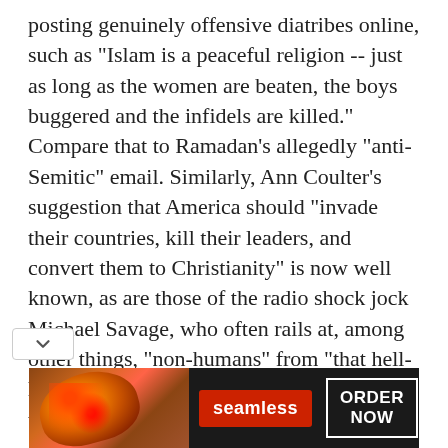posting genuinely offensive diatribes online, such as "Islam is a peaceful religion -- just as long as the women are beaten, the boys buggered and the infidels are killed." Compare that to Ramadan's allegedly "anti-Semitic" email. Similarly, Ann Coulter's suggestion that America should "invade their countries, kill their leaders, and convert them to Christianity" is now well known, as are those of the radio shock jock Michael Savage, who often rails at, among other things, "non-humans" from "that hell-hole the Middle East". My guess is that these highly public and incendiary slurs against an embattled community that is already the object of widespread fear and prejudice have earned these acters little if any attention from the
[Figure (other): Seamless food delivery advertisement banner with pizza image on the left, red Seamless logo badge in the center, and 'ORDER NOW' button on the right against a dark background.]